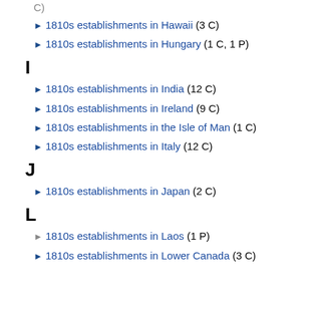► 1810s establishments in Hawaii (3 C)
► 1810s establishments in Hungary (1 C, 1 P)
I
► 1810s establishments in India (12 C)
► 1810s establishments in Ireland (9 C)
► 1810s establishments in the Isle of Man (1 C)
► 1810s establishments in Italy (12 C)
J
► 1810s establishments in Japan (2 C)
L
► 1810s establishments in Laos (1 P)
► 1810s establishments in Lower Canada (3 C)